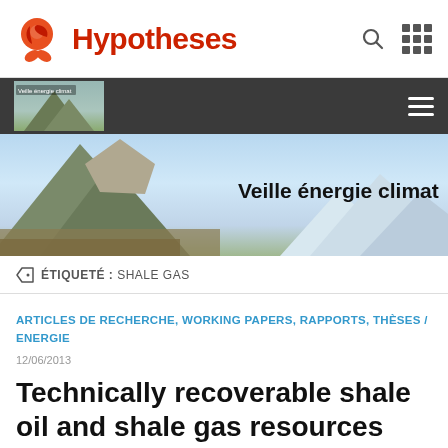Hypotheses
[Figure (screenshot): Navigation bar with dark background, small thumbnail of mountain/landscape image on left with label 'Veille énergie climat', and hamburger menu icon on right]
[Figure (photo): Hero banner photo of a mountain landscape with clear blue sky and snow-capped mountains in background. Text overlay reads 'Veille énergie climat']
ÉTIQUETÉ : SHALE GAS
ARTICLES DE RECHERCHE, WORKING PAPERS, RAPPORTS, THÈSES / ENERGIE
12/06/2013
Technically recoverable shale oil and shale gas resources